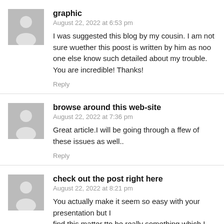[Figure (illustration): Gray placeholder avatar icon with a person silhouette]
graphic
August 22, 2022 at 6:53 pm
I was suggested this blog by my cousin. I am not sure wuether this poost is written by him as noo one else know such detailed about my trouble. You are incredible! Thanks!
Reply
[Figure (illustration): Gray placeholder avatar icon with a person silhouette]
browse around this web-site
August 22, 2022 at 7:36 pm
Great article.I will be going through a ffew of these issues as well..
Reply
[Figure (illustration): Gray placeholder avatar icon with a person silhouette]
check out the post right here
August 22, 2022 at 8:21 pm
You actually make it seem so easy with your presentation but I find this matter tto be really something which I think I